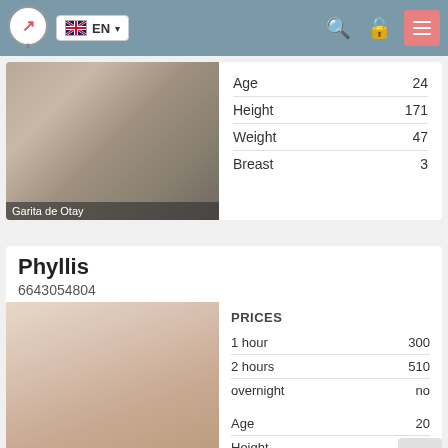EN (language selector navigation bar)
[Figure (photo): Partial photo of a person on a bed, location label 'Garita de Otay' shown at bottom]
|  |  |
| --- | --- |
| Age | 24 |
| Height | 171 |
| Weight | 47 |
| Breast | 3 |
Phyllis
6643054804
[Figure (photo): Partial photo of a person]
| PRICES |  |
| --- | --- |
| 1 hour | 300 |
| 2 hours | 510 |
| overnight | no |
|  |  |
| --- | --- |
| Age | 20 |
| Height | 154 |
| Weight | 71 |